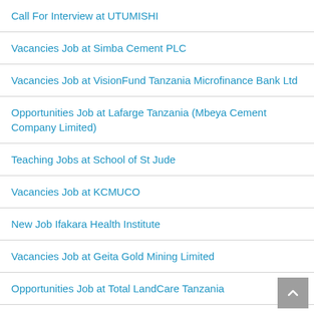Call For Interview at UTUMISHI
Vacancies Job at Simba Cement PLC
Vacancies Job at VisionFund Tanzania Microfinance Bank Ltd
Opportunities Job at Lafarge Tanzania (Mbeya Cement Company Limited)
Teaching Jobs at School of St Jude
Vacancies Job at KCMUCO
New Job Ifakara Health Institute
Vacancies Job at Geita Gold Mining Limited
Opportunities Job at Total LandCare Tanzania
Jobs at Ngorongoro Conservation Area Authority
New Opportunities Job at IOM Tanzania